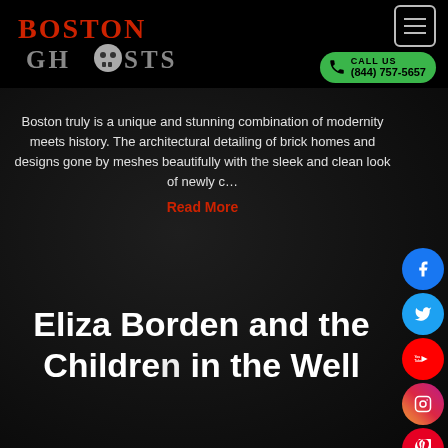[Figure (logo): Boston Ghosts logo — 'Boston' in red gothic serif text and 'Ghosts' in gray with a skull replacing the O]
CALL US
(844) 757-5657
Boston truly is a unique and stunning combination of modernity meets history. The architectural detailing of brick homes and designs gone by meshes beautifully with the sleek and clean look of newly c...
Read More
Eliza Borden and the Children in the Well